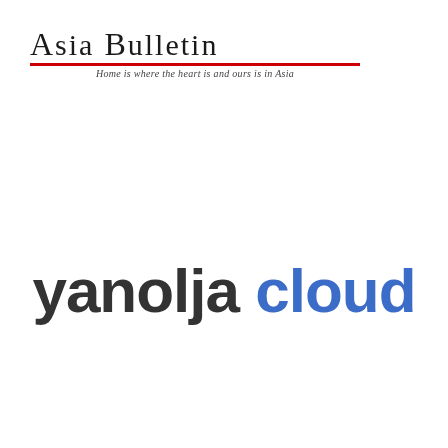[Figure (logo): Asia Bulletin newspaper logo with large serif text 'Asia Bulletin', a red horizontal rule beneath, and italic tagline 'Home is where the heart is and ours is in Asia']
[Figure (logo): Yanolja Cloud company logo: 'yanolja' in dark gray bold sans-serif and 'cloud' in blue bold sans-serif]